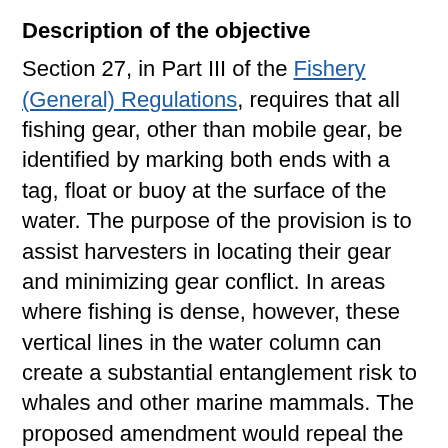Description of the objective
Section 27, in Part III of the Fishery (General) Regulations, requires that all fishing gear, other than mobile gear, be identified by marking both ends with a tag, float or buoy at the surface of the water. The purpose of the provision is to assist harvesters in locating their gear and minimizing gear conflict. In areas where fishing is dense, however, these vertical lines in the water column can create a substantial entanglement risk to whales and other marine mammals. The proposed amendment would repeal the two-endline